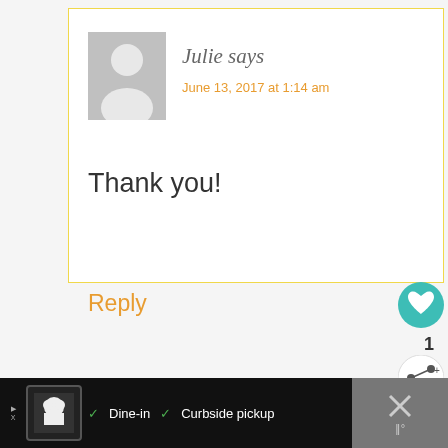Julie says
June 13, 2017 at 1:14 am
Thank you!
Reply
1
WHAT'S NEXT → Tips for School Pictu...
Dine-in   Curbside pickup